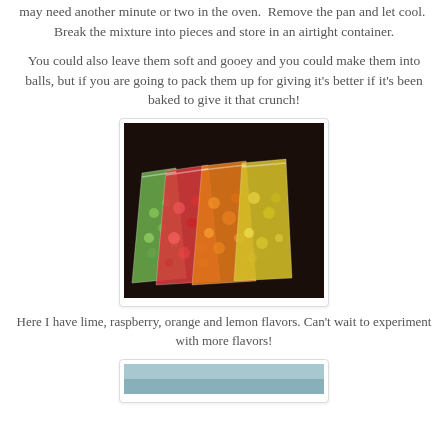may need another minute or two in the oven. Remove the pan and let cool. Break the mixture into pieces and store in an airtight container.
You could also leave them soft and gooey and you could make them into balls, but if you are going to pack them up for giving it's better if it's been baked to give it that crunch!
[Figure (photo): Four clear plastic zip bags filled with colorful flavored popcorn pieces: green (lime), red (raspberry), orange, and yellow (lemon), arranged on a dark surface.]
Here I have lime, raspberry, orange and lemon flavors. Can't wait to experiment with more flavors!
[Figure (photo): Partial view of another photo at the bottom of the page, partially cropped.]